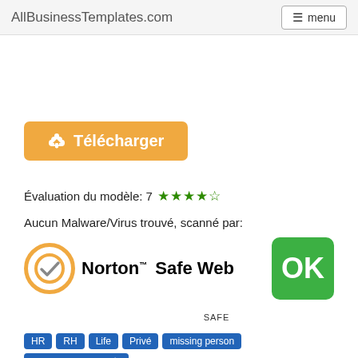AllBusinessTemplates.com   ☰ menu
[Figure (other): Orange download button with cloud/arrow icon and text 'Télécharger']
Évaluation du modèle: 7 ★★★★☆
Aucun Malware/Virus trouvé, scanné par:
[Figure (logo): Norton Safe Web logo with yellow checkmark circle, bold text 'Norton™ Safe Web' and green OK badge labeled SAFE]
HR
RH
Life
Privé
missing person
personne manquante
missing
manquant
person
la personne
Culture